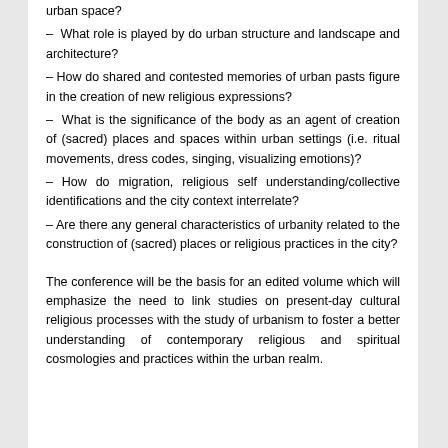– What role is played by do urban structure and landscape and architecture?
– How do shared and contested memories of urban pasts figure in the creation of new religious expressions?
– What is the significance of the body as an agent of creation of (sacred) places and spaces within urban settings (i.e. ritual movements, dress codes, singing, visualizing emotions)?
– How do migration, religious self understanding/collective identifications and the city context interrelate?
– Are there any general characteristics of urbanity related to the construction of (sacred) places or religious practices in the city?
The conference will be the basis for an edited volume which will emphasize the need to link studies on present-day cultural religious processes with the study of urbanism to foster a better understanding of contemporary religious and spiritual cosmologies and practices within the urban realm.